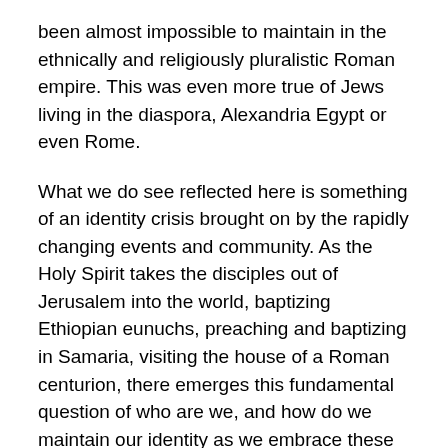been almost impossible to maintain in the ethnically and religiously pluralistic Roman empire. This was even more true of Jews living in the diaspora, Alexandria Egypt or even Rome.
What we do see reflected here is something of an identity crisis brought on by the rapidly changing events and community. As the Holy Spirit takes the disciples out of Jerusalem into the world, baptizing Ethiopian eunuchs, preaching and baptizing in Samaria, visiting the house of a Roman centurion, there emerges this fundamental question of who are we, and how do we maintain our identity as we embrace these new people and go into new places? It is a question that preoccupies much of the book of Acts and much of Paul's writings, as he sought to find a way to include Gentiles equally and fully alongside Jews in the Body of Christ.